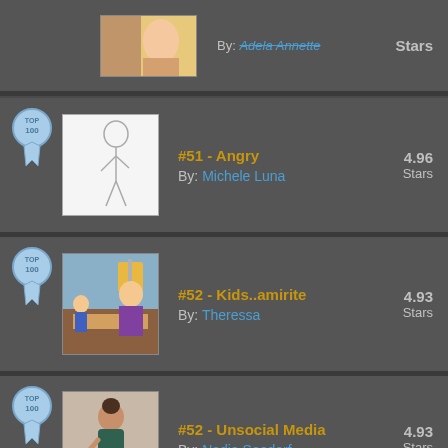#51 - Angry | By: Michele Luna | 4.96 Stars
#52 - Kids..amirite | By: Theressa | 4.93 Stars
#52 - Unsocial Media | By: Nadja Seedorf | 4.93 Stars
#54 - Different Generation | 4.9